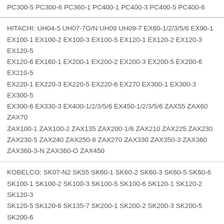PC300-5 PC300-6 PC360-1 PC400-1 PC400-3 PC400-5 PC400-6
HITACHI: UH04-5 UH07-7O/N UH09 UH09-7 EX60-1/2/3/5/6 EX90-1 EX100-1 EX100-2 EX100-3 EX100-5 EX120-1 EX120-2 EX120-3 EX120-5 EX120-6 EX160-1 EX200-1 EX200-2 EX200-3 EX200-5 EX200-6 EX210-5 EX220-1 EX220-3 EX220-5 EX220-6 EX270 EX300-1 EX300-3 EX300-5 EX300-6 EX330-3 EX400-1/2/3/5/6 EX450-1/2/3/5/6 ZAX55 ZAX60 ZAX70 ZAX100-1 ZAX100-2 ZAX135 ZAX200-1/6 ZAX210 ZAX225 ZAX230 ZAX230-5 ZAX240 ZAX250-8 ZAX270 ZAX330 ZAX350-3 ZAX360 ZAX360-3-N ZAX360-O ZAX450
KOBELCO: SK07-N2 SK55 SK60-1 SK60-2 SK60-3 SK60-5 SK60-6 SK100-1 SK100-2 SK100-3 SK100-5 SK100-6 SK120-1 SK120-2 SK120-3 SK120-5 SK120-6 SK135-7 SK200-1 SK200-2 SK200-3 SK200-5 SK200-6 SK200-6E SK200-7 SK200-8 SK210-6E SK210-7 SK210-8 SK230-6 SK230-6E SK220-3 SK220-6 SK235 SK250-8 SK300-3 SK300-6 SK310-3
Tel. | E-mail | Add.